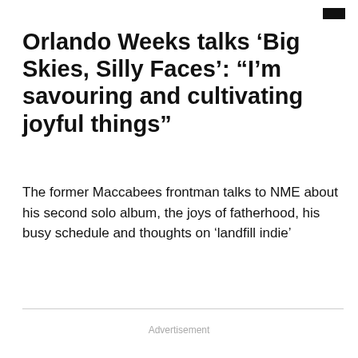Orlando Weeks talks ‘Big Skies, Silly Faces’: “I’m savouring and cultivating joyful things”
The former Maccabees frontman talks to NME about his second solo album, the joys of fatherhood, his busy schedule and thoughts on 'landfill indie'
Advertisement